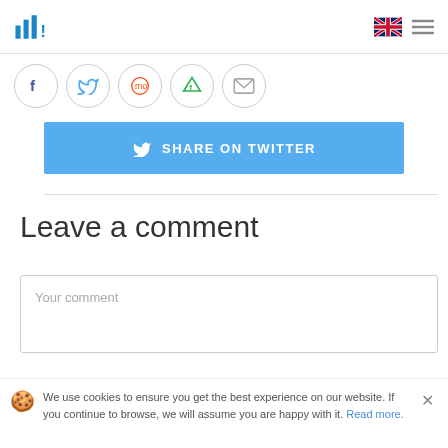Inchoo logo, UK flag, menu icon
[Figure (other): Social sharing icons row: Facebook, Twitter, Reddit, Feedly, Email]
[Figure (other): Share on Twitter button in blue]
Leave a comment
Your comment
We use cookies to ensure you get the best experience on our website. If you continue to browse, we will assume you are happy with it. Read more.